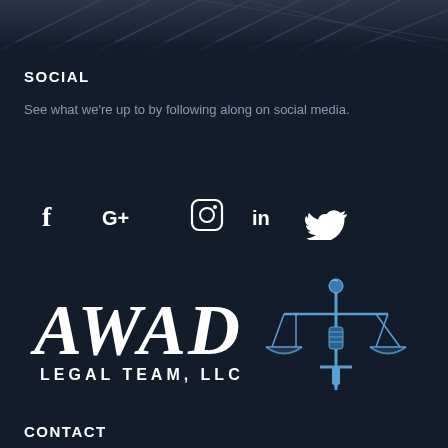[Figure (photo): Dark architectural background image at the top of the page, showing a building structure in dark blue/gray tones]
SOCIAL
See what we're up to by following along on social media.
[Figure (illustration): Social media icons: Facebook (f), Google+ (G+), Instagram (circle camera), LinkedIn (in), Twitter (bird)]
[Figure (logo): AWAD LEGAL TEAM, LLC logo with scales of justice and sword icon in blue]
CONTACT